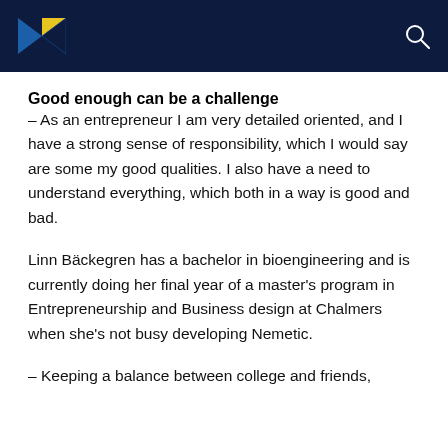[Logo] [Search icon]
Good enough can be a challenge
– As an entrepreneur I am very detailed oriented, and I have a strong sense of responsibility, which I would say are some my good qualities. I also have a need to understand everything, which both in a way is good and bad.
Linn Bäckegren has a bachelor in bioengineering and is currently doing her final year of a master's program in Entrepreneurship and Business design at Chalmers when she's not busy developing Nemetic.
– Keeping a balance between college and friends,